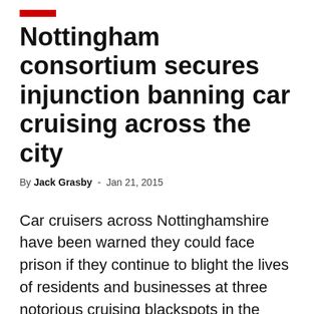Nottingham consortium secures injunction banning car cruising across the city
By Jack Grasby - Jan 21, 2015
Car cruisers across Nottinghamshire have been warned they could face prison if they continue to blight the lives of residents and businesses at three notorious cruising blackspots in the county.
The warning comes after an injunction order, secured by a consortium of authorities